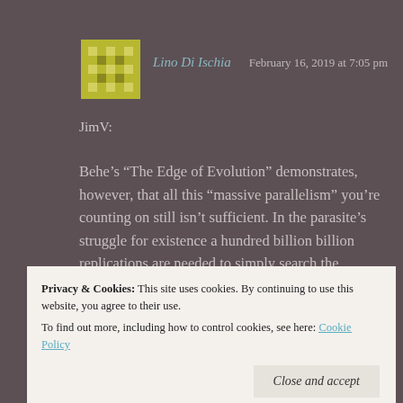Lino Di Ischia  February 16, 2019 at 7:05 pm
JimV:
Behe’s “The Edge of Evolution” demonstrates, however, that all this “massive parallelism” you’re counting on still isn’t sufficient. In the parasite’s struggle for existence a hundred billion billion replications are needed to simply search the genome for two amino acid substitutions.
★ Like
Privacy & Cookies: This site uses cookies. By continuing to use this website, you agree to their use.
To find out more, including how to control cookies, see here: Cookie Policy
Close and accept